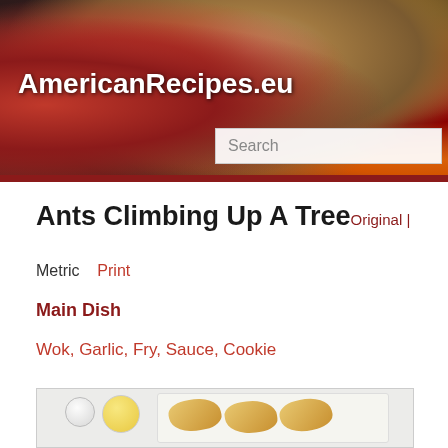[Figure (photo): Header banner showing vegetables including tomatoes, mushrooms, red chili peppers, and yellow bell pepper on a dark background]
AmericanRecipes.eu
Search
Ants Climbing Up A Tree Original | Metric Print
Main Dish
Wok, Garlic, Fry, Sauce, Cookie
[Figure (photo): Food photo showing small glass jars and croissants on a white tray against a light grey background]